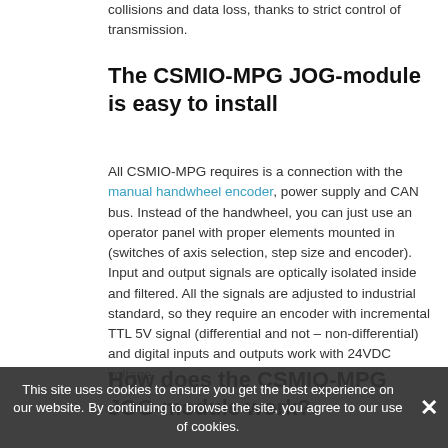collisions and data loss, thanks to strict control of transmission.
The CSMIO-MPG JOG-module is easy to install
All CSMIO-MPG requires is a connection with the manual handwheel encoder, power supply and CAN bus. Instead of the handwheel, you can just use an operator panel with proper elements mounted in (switches of axis selection, step size and encoder). Input and output signals are optically isolated inside and filtered. All the signals are adjusted to industrial standard, so they require an encoder with incremental TTL 5V signal (differential and not – non-differential) and digital inputs and outputs work with 24VDC voltage.
How does the CSMIO-MPG JOG-module work?
This site uses cookies to ensure you get the best experience on our website. By continuing to browse the site, you agree to our use of cookies.